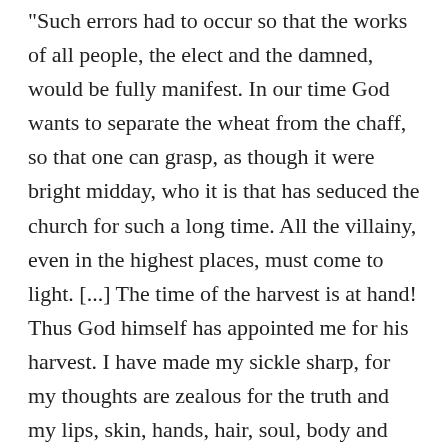"Such errors had to occur so that the works of all people, the elect and the damned, would be fully manifest. In our time God wants to separate the wheat from the chaff, so that one can grasp, as though it were bright midday, who it is that has seduced the church for such a long time. All the villainy, even in the highest places, must come to light. [...] The time of the harvest is at hand! Thus God himself has appointed me for his harvest. I have made my sickle sharp, for my thoughts are zealous for the truth and my lips, skin, hands, hair, soul, body and my life all damn the unbelievers." "Whoever despises such warnings as these is already, now, in the hands of the Turks." "shortly after this, Christ will give to his elect the kingdom of this world for all eternity." Müntzer wrote similarly to Melanchthon in 1522: “Do not make peace with the reprobate, for they impede the mighty working of the word. Do not flatter your princes; otherwise you